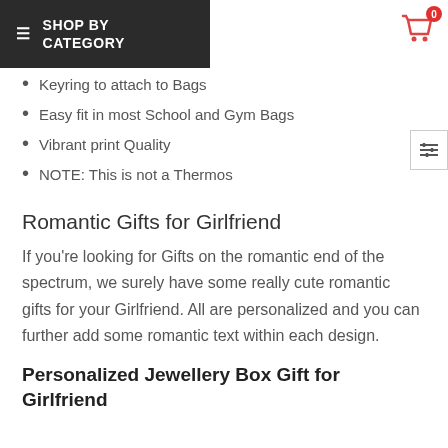≡ SHOP BY CATEGORY
Keyring to attach to Bags
Easy fit in most School and Gym Bags
Vibrant print Quality
NOTE: This is not a Thermos
Romantic Gifts for Girlfriend
If you're looking for Gifts on the romantic end of the spectrum, we surely have some really cute romantic gifts for your Girlfriend. All are personalized and you can further add some romantic text within each design.
Personalized Jewellery Box Gift for Girlfriend